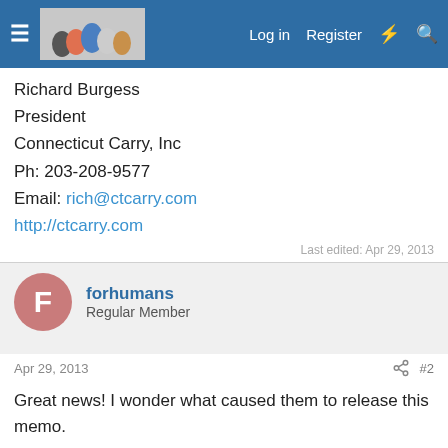Navigation bar with logo, Log in, Register
Richard Burgess
President
Connecticut Carry, Inc
Ph: 203-208-9577
Email: rich@ctcarry.com
http://ctcarry.com
Last edited: Apr 29, 2013
forhumans
Regular Member
Apr 29, 2013	#2
Great news! I wonder what caused them to release this memo.
Edward Peruta
Regular Member